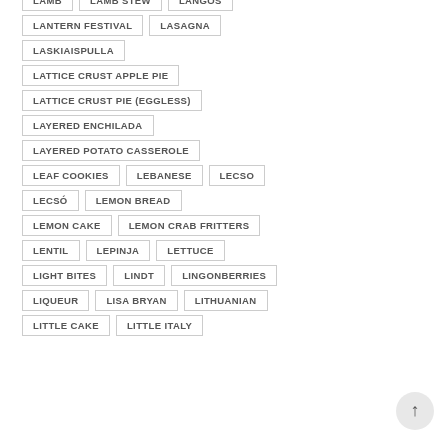LAMB
LAMB STEW
LANGOS
LANTERN FESTIVAL
LASAGNA
LASKIAISPULLA
LATTICE CRUST APPLE PIE
LATTICE CRUST PIE (EGGLESS)
LAYERED ENCHILADA
LAYERED POTATO CASSEROLE
LEAF COOKIES
LEBANESE
LECSO
LECSÓ
LEMON BREAD
LEMON CAKE
LEMON CRAB FRITTERS
LENTIL
LEPINJA
LETTUCE
LIGHT BITES
LINDT
LINGONBERRIES
LIQUEUR
LISA BRYAN
LITHUANIAN
LITTLE CAKE
LITTLE ITALY